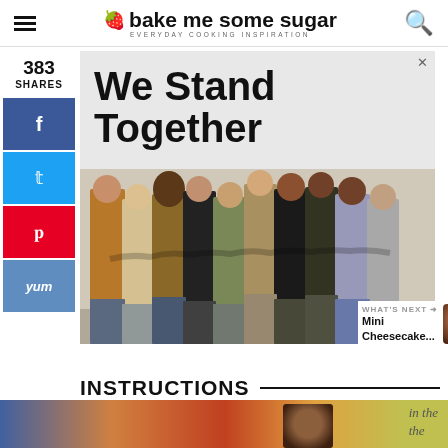bake me some sugar — EVERYDAY COOKING INSPIRATION
[Figure (photo): Advertisement banner showing 'We Stand Together' text with a group of diverse people standing with arms around each other, viewed from behind]
383
SHARES
[Figure (infographic): Social sharing sidebar with Facebook, Twitter, Pinterest, and Yummly buttons]
[Figure (infographic): Right-side engagement widgets: heart/like button with count 390 and share button]
WHAT'S NEXT → Mini Cheesecake...
INSTRUCTIONS
[Figure (photo): Bottom advertisement strip showing a scenic landscape with Smokey Bear and recipe-related text in the background]